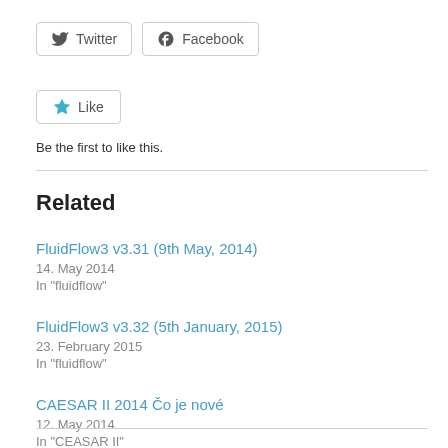[Figure (other): Social share buttons: Twitter and Facebook]
[Figure (other): Like button widget]
Be the first to like this.
Related
FluidFlow3 v3.31 (9th May, 2014)
14. May 2014
In "fluidflow"
FluidFlow3 v3.32 (5th January, 2015)
23. February 2015
In "fluidflow"
CAESAR II 2014 Čo je nové
12. May 2014
In "CEASAR II"